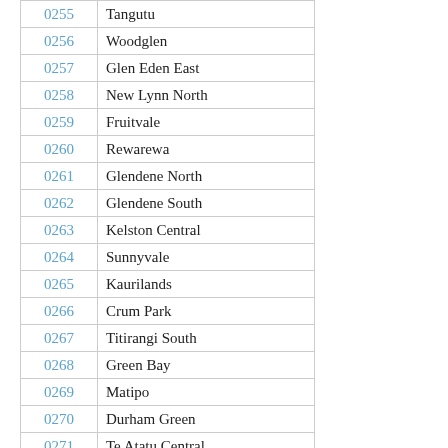| Code | Name |
| --- | --- |
| 0255 | Tangutu |
| 0256 | Woodglen |
| 0257 | Glen Eden East |
| 0258 | New Lynn North |
| 0259 | Fruitvale |
| 0260 | Rewarewa |
| 0261 | Glendene North |
| 0262 | Glendene South |
| 0263 | Kelston Central |
| 0264 | Sunnyvale |
| 0265 | Kaurilands |
| 0266 | Crum Park |
| 0267 | Titirangi South |
| 0268 | Green Bay |
| 0269 | Matipo |
| 0270 | Durham Green |
| 0271 | Te Atatu Central |
| 0272 | Edmonton |
| 0273 | Wakeling |